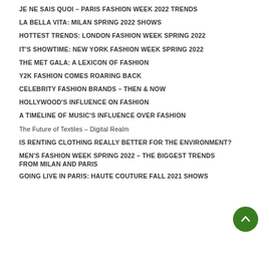JE NE SAIS QUOI – PARIS FASHION WEEK 2022 TRENDS
LA BELLA VITA: MILAN SPRING 2022 SHOWS
HOTTEST TRENDS: LONDON FASHION WEEK SPRING 2022
IT'S SHOWTIME: NEW YORK FASHION WEEK SPRING 2022
THE MET GALA: A LEXICON OF FASHION
Y2K FASHION COMES ROARING BACK
CELEBRITY FASHION BRANDS – THEN & NOW
HOLLYWOOD'S INFLUENCE ON FASHION
A TIMELINE OF MUSIC'S INFLUENCE OVER FASHION
The Future of Textiles – Digital Realm
IS RENTING CLOTHING REALLY BETTER FOR THE ENVIRONMENT?
MEN'S FASHION WEEK SPRING 2022 – THE BIGGEST TRENDS FROM MILAN AND PARIS
GOING LIVE IN PARIS: HAUTE COUTURE FALL 2021 SHOWS